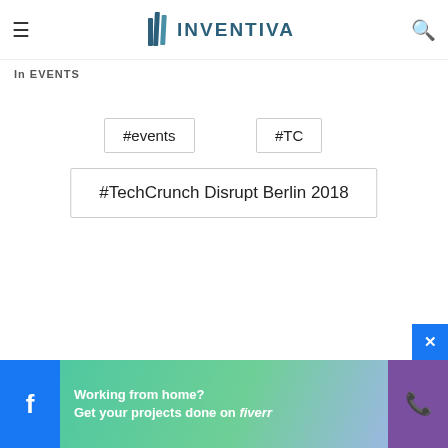INVENTIVA
In EVENTS
#events
#TC
#TechCrunch Disrupt Berlin 2018
Working from home? Get your projects done on fiverr